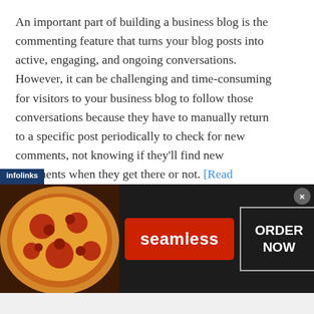An important part of building a business blog is the commenting feature that turns your blog posts into active, engaging, and ongoing conversations. However, it can be challenging and time-consuming for visitors to your business blog to follow those conversations because they have to manually return to a specific post periodically to check for new comments, not knowing if they'll find new comments when they get there or not. [Read more…]
1 out of 3 Twitter Users Talk about Brands
[Figure (other): Seamless food delivery advertisement banner with pizza image on left, red Seamless button in center, and ORDER NOW button on right with infolinks badge and close button]